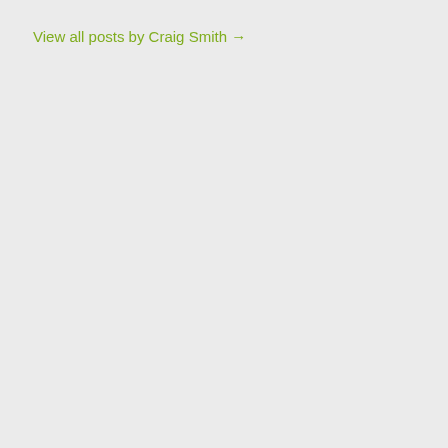View all posts by Craig Smith →